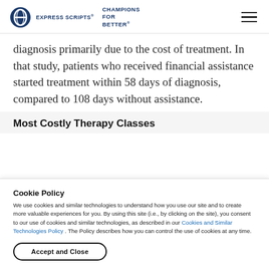EXPRESS SCRIPTS® CHAMPIONS FOR BETTER
diagnosis primarily due to the cost of treatment. In that study, patients who received financial assistance started treatment within 58 days of diagnosis, compared to 108 days without assistance.
Most Costly Therapy Classes
Cookie Policy
We use cookies and similar technologies to understand how you use our site and to create more valuable experiences for you. By using this site (i.e., by clicking on the site), you consent to our use of cookies and similar technologies, as described in our Cookies and Similar Technologies Policy . The Policy describes how you can control the use of cookies at any time.
Accept and Close